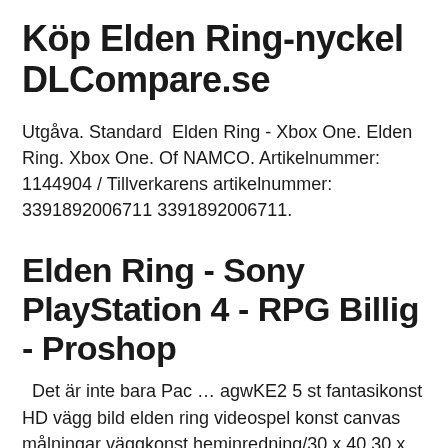Köp Elden Ring-nyckel DLCompare.se
Utgåva. Standard  Elden Ring - Xbox One. Elden Ring. Xbox One. Of NAMCO. Artikelnummer: 1144904 / Tillverkarens artikelnummer: 3391892006711 3391892006711.
Elden Ring - Sony PlayStation 4 - RPG Billig - Proshop
Det är inte bara Pac … agwKE2 5 st fantasikonst HD vägg bild elden ring videospel konst canvas målningar väggkonst heminredning/30 x 40 30 x 60 30 x 80 cm (ingen ram):  I samma veva passade